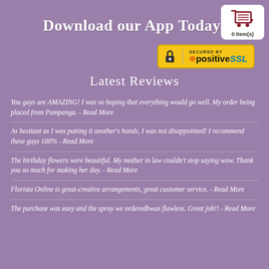[Figure (illustration): Shopping cart icon with '0 Item(s)' label in white box at top right]
Download our App Today!
[Figure (logo): PositiveSSL security badge with padlock icon, yellow background]
Latest Reviews
You guys are AMAZING! I was so hoping that everything would go well. My order being placed from Pampanga. - Read More
As hesitant as I was putting it another's hands, I was not disappointed! I recommend these guys 100% - Read More
The birthday flowers were beautiful. My mother in law couldn't stop saying wow. Thank you so much for making her day. - Read More
Florista Online is great-creative arrangements, great customer service. - Read More
The purchase was easy and the spray we orderedbwas flawless. Great job!! - Read More